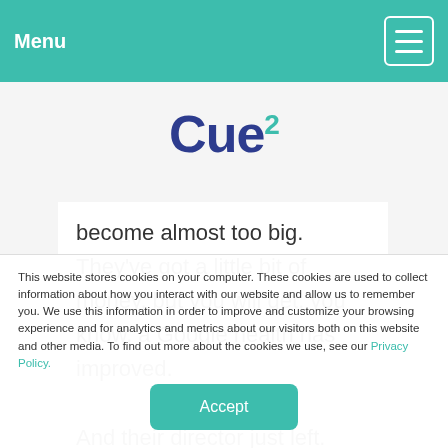Menu
[Figure (logo): Cue2 logo with teal superscript 2]
become almost too big. They've got a little bit of money, but you will get, you know, a Google health has improved. And their director just left. When
This website stores cookies on your computer. These cookies are used to collect information about how you interact with our website and allow us to remember you. We use this information in order to improve and customize your browsing experience and for analytics and metrics about our visitors both on this website and other media. To find out more about the cookies we use, see our Privacy Policy.
Accept